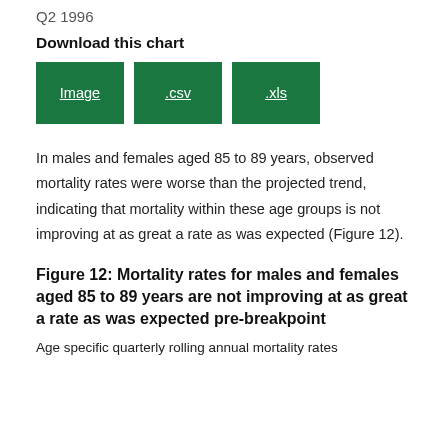Q2 1996
Download this chart
[Figure (other): Three green download buttons labeled Image, .csv, and .xls]
In males and females aged 85 to 89 years, observed mortality rates were worse than the projected trend, indicating that mortality within these age groups is not improving at as great a rate as was expected (Figure 12).
Figure 12: Mortality rates for males and females aged 85 to 89 years are not improving at as great a rate as was expected pre-breakpoint
Age specific quarterly rolling annual mortality rates